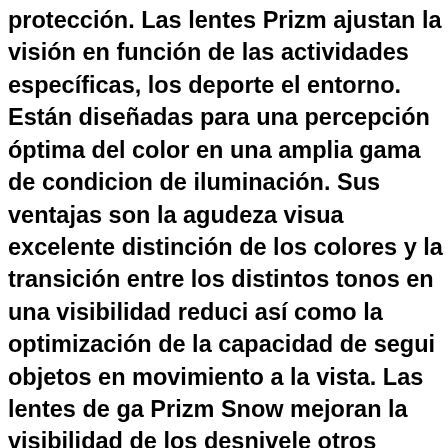protección. Las lentes Prizm ajustan la visión en función de las actividades específicas, los deportes y el entorno. Están diseñadas para una percepción óptima del color en una amplia gama de condiciones de iluminación. Sus ventajas son la agudeza visual, excelente distinción de los colores y la transición entre los distintos tonos en una visibilidad reducida, así como la optimización de la capacidad de seguir objetos en movimiento a la vista. Las lentes de gafa Prizm Snow mejoran la visibilidad de los desniveles y otros detalles en la pista de esquí y en terreno abierto. El efecto espejo de los cristales se caracteriza por la superficie altamente reflectante de la lente. Reduce la cantidad de luz que entra en el ojo. Esta capacidad hace que las gafas de sol de espejo sean muy adecuadas en entornos muy luminosos o deslumbrantes, por ejemplo, en días soleados o al esquiar. El efecto espejo proporciona un gran contraste visual, pero puede distorsionar ligeramente la percepción de los colores. Las gafas de sol tienen protección UV 400, lo que proporciona un 100% de protección contra la luz solar. Los cristales de l